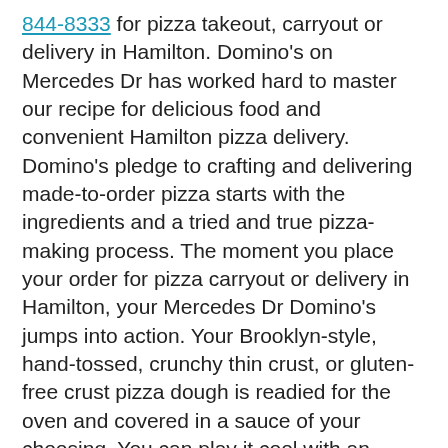844-8333 for pizza takeout, carryout or delivery in Hamilton. Domino's on Mercedes Dr has worked hard to master our recipe for delicious food and convenient Hamilton pizza delivery. Domino's pledge to crafting and delivering made-to-order pizza starts with the ingredients and a tried and true pizza-making process. The moment you place your order for pizza carryout or delivery in Hamilton, your Mercedes Dr Domino's jumps into action. Your Brooklyn-style, hand-tossed, crunchy thin crust, or gluten-free crust pizza dough is readied for the oven and covered in a sauce of your choosing. You can play it cool with an authentic marinara or venture into new taste territory with BBQ sauce, garlic parmesan white sauce, or Alfredo sauce!
Then it's time for the toppings, the bits that make every bite of pizza perfect. Domino's long-time favorite pizza recipes offer the most thoughtful flavor varieties to satisfy whatever makes your tastebuds happy. Kookoo for Memphis BBQ Chicken? Yum to the yum! Like a little beach vacation with your meal? Try the Honolulu Hawaiian Pizza with smoked bacon, sliced ham, pineapple, roasted red peppers, and more! Going meat-free? Domino's has options for you, too. Enjoy the Spinach & Feta Pizza or the Pacific Veggie! Domino's pizzas can be made 34 million different ways